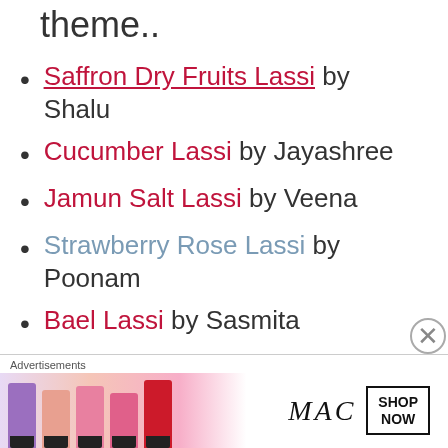theme..
Saffron Dry Fruits Lassi by Shalu
Cucumber Lassi by Jayashree
Jamun Salt Lassi by Veena
Strawberry Rose Lassi by Poonam
Bael Lassi by Sasmita
Sweet Lassi by Geetanjali
Advertisements
[Figure (photo): MAC cosmetics advertisement banner showing colorful lipsticks with MAC logo and SHOP NOW button]